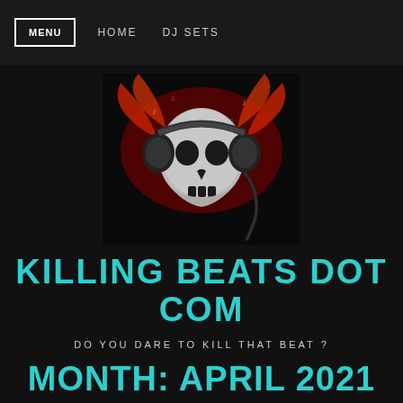MENU   HOME   DJ SETS
[Figure (illustration): Skull wearing headphones with red flame/wing motifs in background, on black background — logo for Killing Beats Dot Com]
KILLING BEATS DOT COM
DO YOU DARE TO KILL THAT BEAT ?
MONTH: APRIL 2021